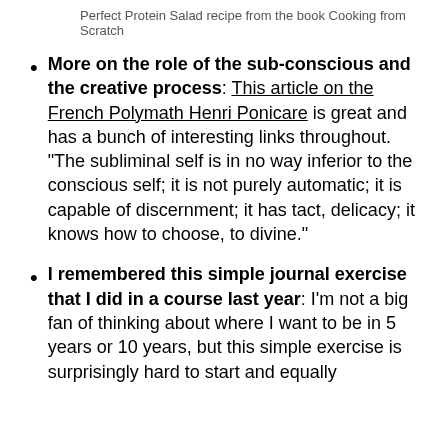Perfect Protein Salad recipe from the book Cooking from Scratch
More on the role of the sub-conscious and the creative process: This article on the French Polymath Henri Ponicare is great and has a bunch of interesting links throughout. “The subliminal self is in no way inferior to the conscious self; it is not purely automatic; it is capable of discernment; it has tact, delicacy; it knows how to choose, to divine.”
I remembered this simple journal exercise that I did in a course last year: I’m not a big fan of thinking about where I want to be in 5 years or 10 years, but this simple exercise is surprisingly hard to start and equally